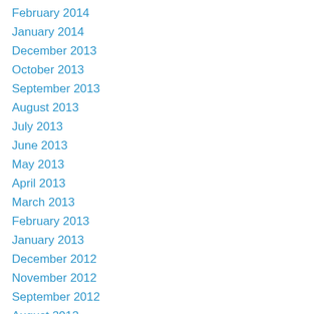February 2014
January 2014
December 2013
October 2013
September 2013
August 2013
July 2013
June 2013
May 2013
April 2013
March 2013
February 2013
January 2013
December 2012
November 2012
September 2012
August 2012
July 2012
May 2012
February 2012